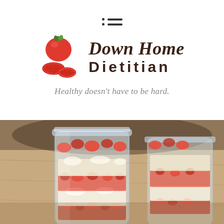[Figure (logo): Hamburger menu icon with two rows of dot-and-line]
[Figure (logo): Down Home Dietitian logo with illustrated tomato graphic and stylized text]
Healthy doesn't have to be hard.
[Figure (photo): Close-up photo of two mason jars filled with strawberry shortcake parfait layers — strawberries, cream, and cake pieces — on a wooden surface]